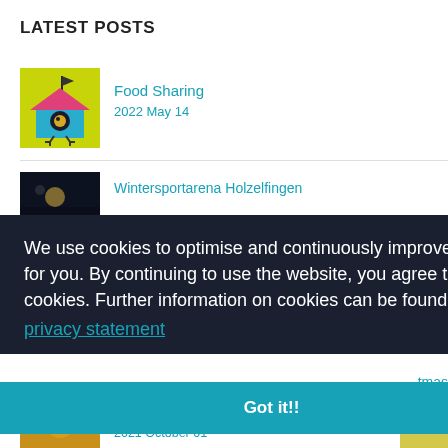LATEST POSTS
[Figure (illustration): Yellow background birdhouse illustration with a pink roof and blue decorative bird house]
Food Sharing
2022 May 14
[Figure (photo): Dark night sky photo thumbnail]
Wintersportarena Holzelfingen
We use cookies to optimise and continuously improve our website for you. By continuing to use the website, you agree to the use of cookies. Further information on cookies can be found in our privacy statement
Got it!!
tmas
[Figure (photo): Yellow/orange colored food photo thumbnail]
2021 October 01